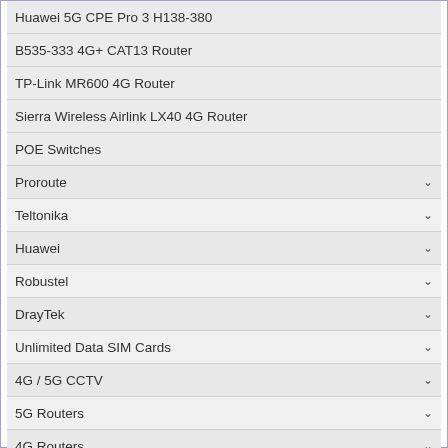Huawei 5G CPE Pro 3 H138-380
B535-333 4G+ CAT13 Router
TP-Link MR600 4G Router
Sierra Wireless Airlink LX40 4G Router
POE Switches
Proroute
Teltonika
Huawei
Robustel
DrayTek
Unlimited Data SIM Cards
4G / 5G CCTV
5G Routers
4G Routers
Other 4G Routers
Office 4G/5G
Mobile Office